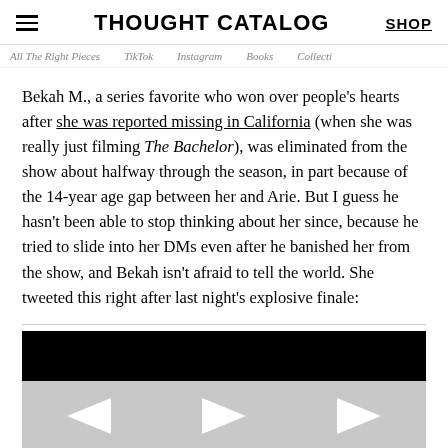THOUGHT CATALOG | SHOP
All The Right Pieces | TikTok | Instagram | Books | Collecti
Bekah M., a series favorite who won over people's hearts after she was reported missing in California (when she was really just filming The Bachelor), was eliminated from the show about halfway through the season, in part because of the 14-year age gap between her and Arie. But I guess he hasn't been able to stop thinking about her since, because he tried to slide into her DMs even after he banished her from the show, and Bekah isn't afraid to tell the world. She tweeted this right after last night's explosive finale:
[Figure (screenshot): An embedded tweet screenshot with a black header area and gray lower section with navigation arrows (left, center, right arrows in white).]